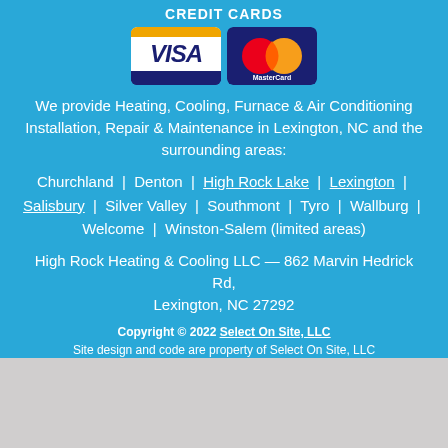CREDIT CARDS
[Figure (logo): Visa and MasterCard credit card logos side by side]
We provide Heating, Cooling, Furnace & Air Conditioning Installation, Repair & Maintenance in Lexington, NC and the surrounding areas:
Churchland | Denton | High Rock Lake | Lexington | Salisbury | Silver Valley | Southmont | Tyro | Wallburg | Welcome | Winston-Salem (limited areas)
High Rock Heating & Cooling LLC — 862 Marvin Hedrick Rd, Lexington, NC 27292
Copyright © 2022 Select On Site, LLC
Site design and code are property of Select On Site, LLC
Product logos and images are the property of their respective manufacturers